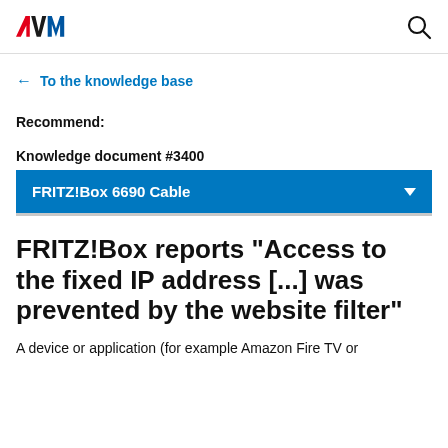AVM logo | Search icon
← To the knowledge base
Recommend:
Knowledge document #3400
FRITZ!Box 6690 Cable
FRITZ!Box reports "Access to the fixed IP address [...] was prevented by the website filter"
A device or application (for example Amazon Fire TV or